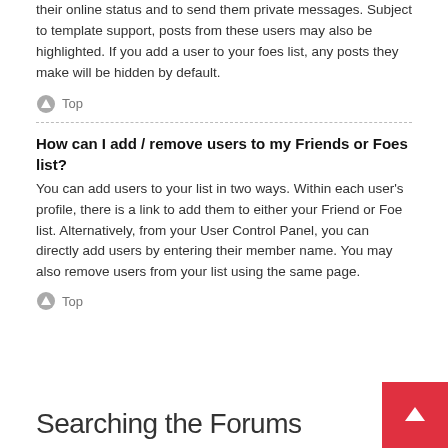their online status and to send them private messages. Subject to template support, posts from these users may also be highlighted. If you add a user to your foes list, any posts they make will be hidden by default.
Top
How can I add / remove users to my Friends or Foes list?
You can add users to your list in two ways. Within each user's profile, there is a link to add them to either your Friend or Foe list. Alternatively, from your User Control Panel, you can directly add users by entering their member name. You may also remove users from your list using the same page.
Top
Searching the Forums